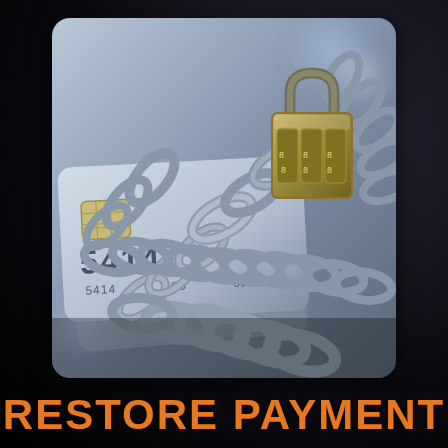[Figure (photo): A credit card with number 5414 displayed, wrapped in thick metal chains with a combination padlock, symbolizing payment restriction or security lockdown. The image has a steel-blue metallic tone.]
RESTORE PAYMENT